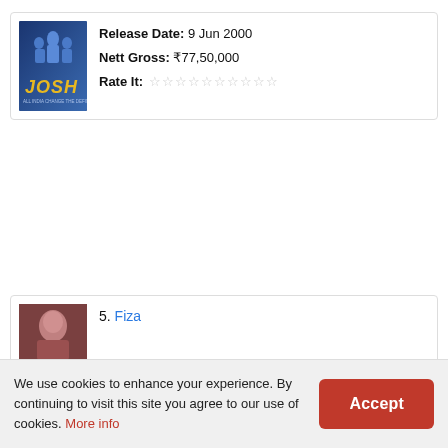[Figure (photo): Movie poster for Josh (2000) - blue action movie cover with cast members and red Josh logo text]
Release Date: 9 Jun 2000
Nett Gross: ₹77,50,000
Rate It: ☆☆☆☆☆☆☆☆☆☆
[Figure (photo): Partial movie poster for Fiza - shows a person's face]
5. Fiza
We use cookies to enhance your experience. By continuing to visit this site you agree to our use of cookies. More info